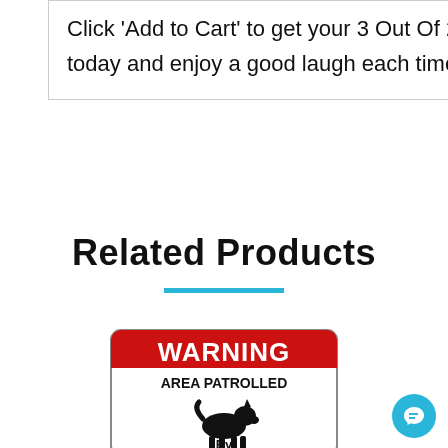Click 'Add to Cart' to get your 3 Out Of 2 People Have Trouble W/ Fractions Decal Set today and enjoy a good laugh each time you pass by!
Related Products
[Figure (photo): Warning sign: WARNING AREA PATROLLED By [dog silhouette] — a red and white rectangular sign with a dog silhouette in the middle]